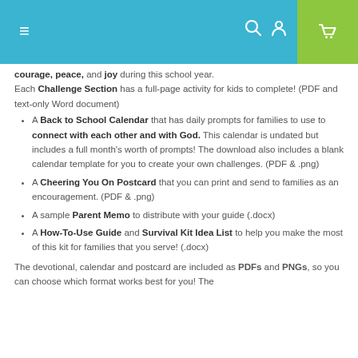Navigation header with menu, search, user, and cart icons
courage, peace, and joy during this school year. Each Challenge Section has a full-page activity for kids to complete! (PDF and text-only Word document)
A Back to School Calendar that has daily prompts for families to use to connect with each other and with God. This calendar is undated but includes a full month's worth of prompts! The download also includes a blank calendar template for you to create your own challenges. (PDF & .png)
A Cheering You On Postcard that you can print and send to families as an encouragement. (PDF & .png)
A sample Parent Memo to distribute with your guide (.docx)
A How-To-Use Guide and Survival Kit Idea List to help you make the most of this kit for families that you serve! (.docx)
The devotional, calendar and postcard are included as PDFs and PNGs, so you can choose which format works best for you! The